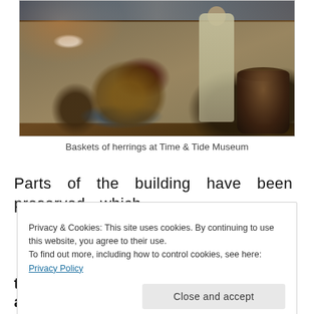[Figure (photo): Museum display showing baskets of herrings, barrels, and figures dressed in historical costume at Time & Tide Museum]
Baskets of herrings at Time & Tide Museum
Parts of the building have been preserved which
Privacy & Cookies: This site uses cookies. By continuing to use this website, you agree to their use.
To find out more, including how to control cookies, see here: Privacy Policy
Close and accept
these would then be laid across wooden bars.